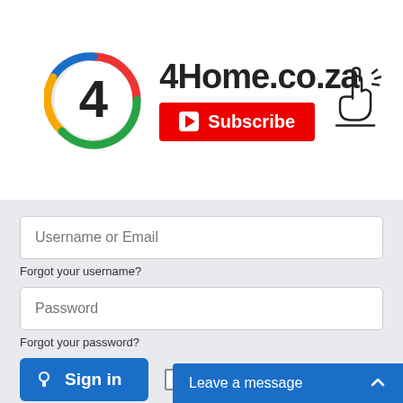[Figure (logo): 4Home.co.za logo with colorful number 4 circle, red Subscribe button, and click hand icon]
[Figure (screenshot): Login form with Username or Email field, Forgot your username link, Password field, Forgot your password link, Sign in button with key icon, Remember me checkbox, Or sign in with your account on text, Facebook button, and Leave a message chat widget]